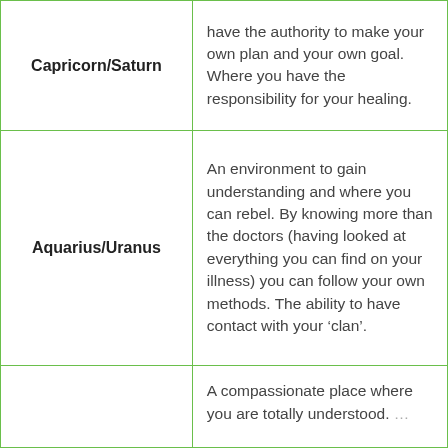| Sign/Planet | Description |
| --- | --- |
| Capricorn/Saturn | have the authority to make your own plan and your own goal. Where you have the responsibility for your healing. |
| Aquarius/Uranus | An environment to gain understanding and where you can rebel. By knowing more than the doctors (having looked at everything you can find on your illness) you can follow your own methods. The ability to have contact with your ‘clan’. |
|  | A compassionate place where you are totally understood. [truncated] |